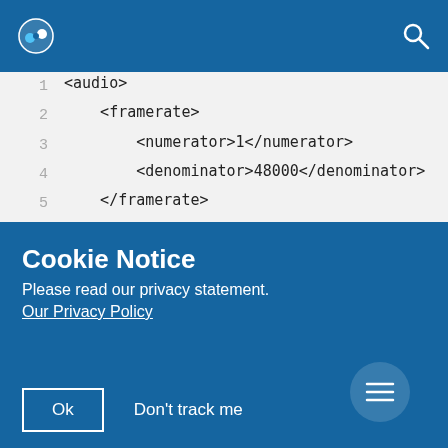Navigation bar with logo and search icon
[Figure (screenshot): Code editor showing XML markup with line numbers. Lines show audio/framerate XML tags with numerator and denominator values, followed by video and scaling tags.]
Cookie Notice
Please read our privacy statement.
Our Privacy Policy
Ok   Don't track me